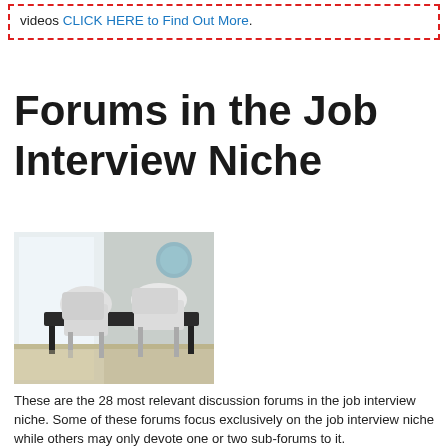videos CLICK HERE to Find Out More.
Forums in the Job Interview Niche
[Figure (photo): A modern meeting room with white chairs around a black table, bright window light, and a decorative element on the wall.]
These are the 28 most relevant discussion forums in the job interview niche. Some of these forums focus exclusively on the job interview niche while others may only devote one or two sub-forums to it.
If you don't see too many relevant forums listed then please do tell us about some forums in this niche by using the submit forum page. Alternatively why not start your own forum in this niche?